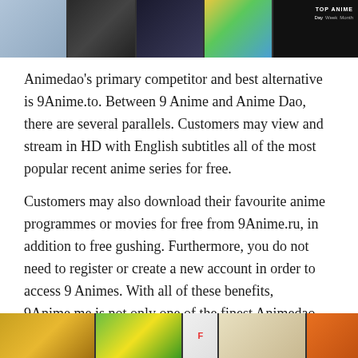[Figure (screenshot): Anime website screenshot showing a dark banner with multiple anime show thumbnails and a TOP ANIME tab panel on the right with Day/Week/Month filters]
Animedao’s primary competitor and best alternative is 9Anime.to. Between 9 Anime and Anime Dao, there are several parallels. Customers may view and stream in HD with English subtitles all of the most popular recent anime series for free.
Customers may also download their favourite anime programmes or movies for free from 9Anime.ru, in addition to free gushing. Furthermore, you do not need to register or create a new account in order to access 9 Animes. With all of these benefits, 9Anime.me is not only one of the finest Animedao alternatives, but also one of the top free anime sites.
4. AnimeFreak
[Figure (screenshot): AnimeFreak website screenshot showing a colorful anime banner with multiple show thumbnails]